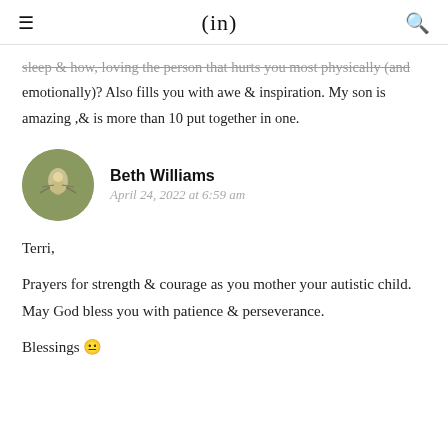(in)
sleep & how, loving the person that hurts you most physically (and emotionally)? Also fills you with awe & inspiration. My son is amazing ,& is more than 10 put together in one.
Beth Williams
April 24, 2022 at 6:59 am
Terri,

Prayers for strength & courage as you mother your autistic child. May God bless you with patience & perseverance.

Blessings 🙂